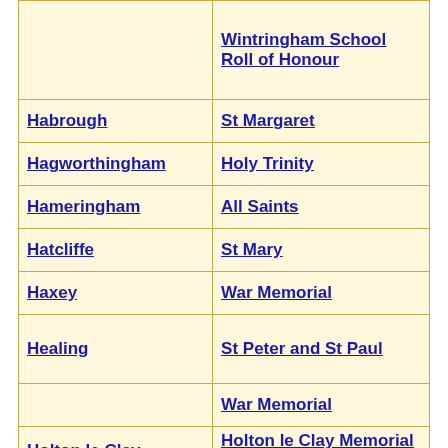| Location | Memorial/Church |
| --- | --- |
|  | Wintringham School Roll of Honour |
| Habrough | St Margaret |
| Hagworthingham | Holy Trinity |
| Hameringham | All Saints |
| Hatcliffe | St Mary |
| Haxey | War Memorial |
| Healing | St Peter and St Paul |
|  | War Memorial |
| Holton le Clay | Holton le Clay Memorial Wall |
|  | St Peter |
|  | War Memorial |
| Holton le Moor | St Luke |
| Horkstow | St Maurice |